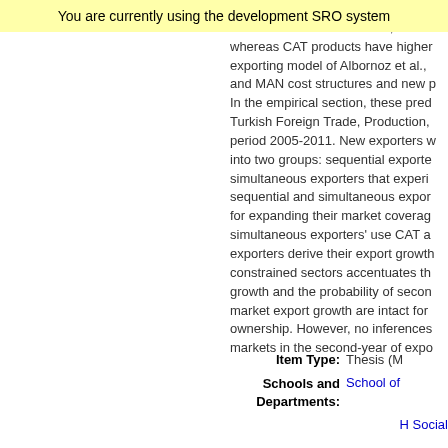You are currently using the development SRO system
products in the theoretical framework, MAN whereas CAT products have higher exporting model of Albornoz et al., and MAN cost structures and new p In the empirical section, these pred Turkish Foreign Trade, Production, period 2005-2011. New exporters w into two groups: sequential exporte simultaneous exporters that experi sequential and simultaneous expor for expanding their market coverag simultaneous exporters' use CAT a exporters derive their export growth constrained sectors accentuates th growth and the probability of secon market export growth are intact for ownership. However, no inferences markets in the second-year of expo
Item Type:  Thesis (M
Schools and  School of
Departments:
H Social